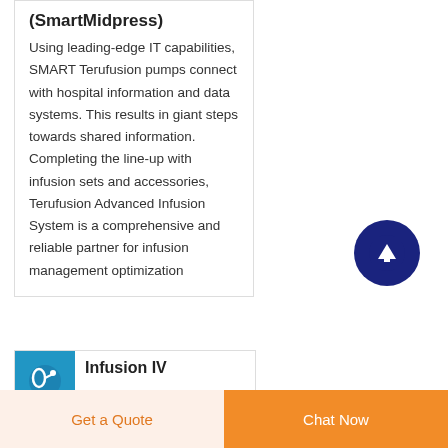(SmartMidpress)
Using leading-edge IT capabilities, SMART Terufusion pumps connect with hospital information and data systems. This results in giant steps towards shared information. Completing the line-up with infusion sets and accessories, Terufusion Advanced Infusion System is a comprehensive and reliable partner for infusion management optimization
[Figure (illustration): Dark navy blue circular scroll-to-top button with white upward arrow icon]
[Figure (illustration): Blue square thumbnail image with medical/infusion device illustration]
Infusion IV
Get a Quote
Chat Now